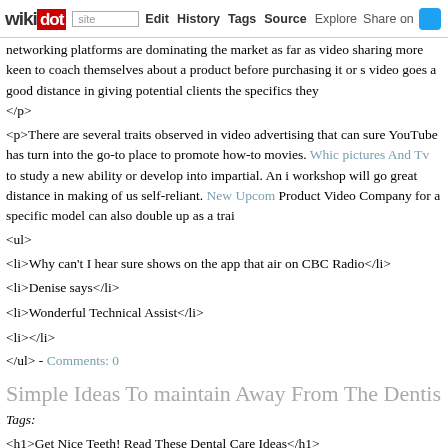wikidot | site | Edit | History | Tags | Source | Explore | Share on [Twitter]
networking platforms are dominating the market as far as video sharing more keen to coach themselves about a product before purchasing it or s video goes a good distance in giving potential clients the specifics they </p>
<p>There are several traits observed in video advertising that can sure YouTube has turn into the go-to place to promote how-to movies. Whic pictures And Tv to study a new ability or develop into impartial. An i workshop will go great distance in making of us self-reliant. New Upcom Product Video Company for a specific model can also double up as a trai
<ul>
<li>Why can't I hear sure shows on the app that air on CBC Radio</li>
<li>Denise says</li>
<li>Wonderful Technical Assist</li>
<li></li>
</ul> - Comments: 0
Simple Ideas To maintain Away From The Dentis
Tags:
<h1>Get Nice Teeth! Read These Dental Care Ideas</h1>
<p>If you are like many people, you could have unanswered questions necessity to brush and floss daily; what also are you able to do to get